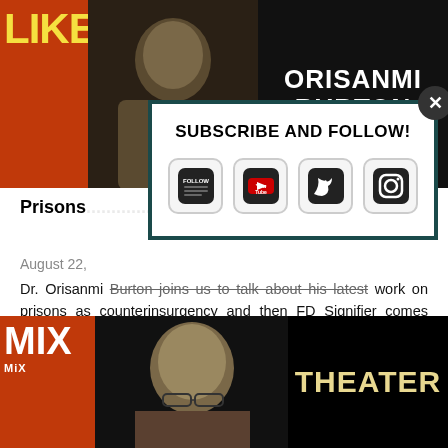[Figure (screenshot): Top banner with orange LIKE text on left, person photo in center, ORISANMI BURTON text on right against dark background]
[Figure (screenshot): Subscribe and Follow modal popup with close button and social media icons (Follow, YouTube, Twitter, Instagram)]
Prisons ... ing in FD!
August 22,
Dr. Orisanmi Burton joins us to talk about his latest work on prisons as counterinsurgency and then FD Signifier comes through to talk academia and pop culture and be sure to check the show...
[Figure (screenshot): Bottom banner with orange MiX text on left, bald man with glasses in center, THEATER text on right against dark background]